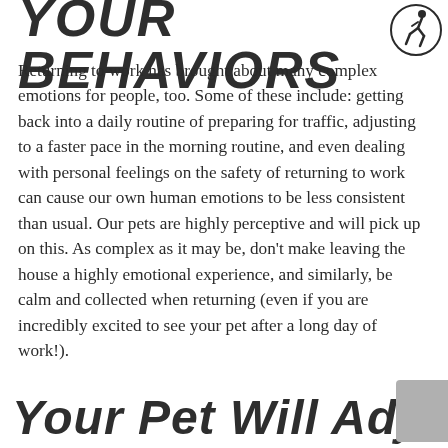YOUR BEHAVIORS
[Figure (illustration): Circular icon with a person/running figure silhouette]
Returning to work has brought about many complex emotions for people, too. Some of these include: getting back into a daily routine of preparing for traffic, adjusting to a faster pace in the morning routine, and even dealing with personal feelings on the safety of returning to work can cause our own human emotions to be less consistent than usual. Our pets are highly perceptive and will pick up on this. As complex as it may be, don't make leaving the house a highly emotional experience, and similarly, be calm and collected when returning (even if you are incredibly excited to see your pet after a long day of work!).
Your Pet Will Adjust